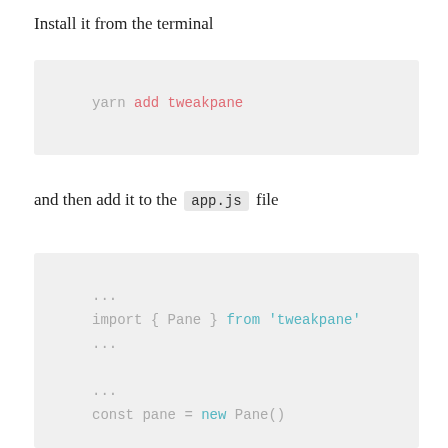Install it from the terminal
yarn add tweakpane
and then add it to the app.js file
...
import { Pane } from 'tweakpane'
...

...
const pane = new Pane()